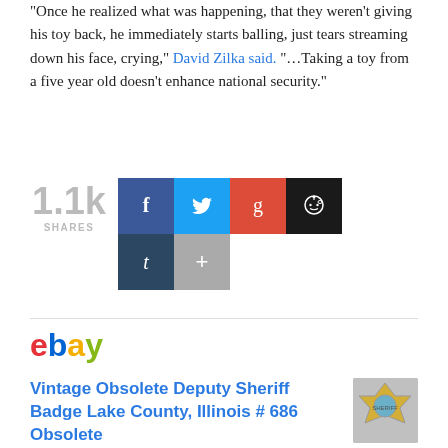“Once he realized what was happening, that they weren’t giving his toy back, he immediately starts balling, just tears streaming down his face, crying,” David Zilka said. “…Taking a toy from a five year old doesn’t enhance national security.”
[Figure (infographic): Social share count showing 1.1k shares, with buttons for Facebook, Twitter, Google+, Reddit, Tumblr, and a plus button]
[Figure (logo): eBay logo in red, blue, yellow, and green]
Vintage Obsolete Deputy Sheriff Badge Lake County, Illinois # 686 Obsolete